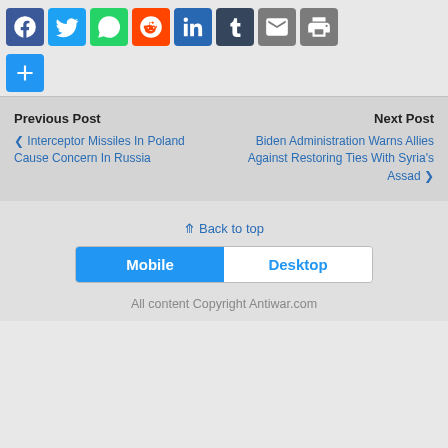[Figure (other): Social media share buttons row: Facebook, Twitter, WhatsApp, Reddit, LinkedIn, Tumblr, Email, Print, and a plus/more button]
Previous Post
< Interceptor Missiles In Poland Cause Concern In Russia
Next Post
Biden Administration Warns Allies Against Restoring Ties With Syria's Assad >
Back to top
Mobile
Desktop
All content Copyright Antiwar.com